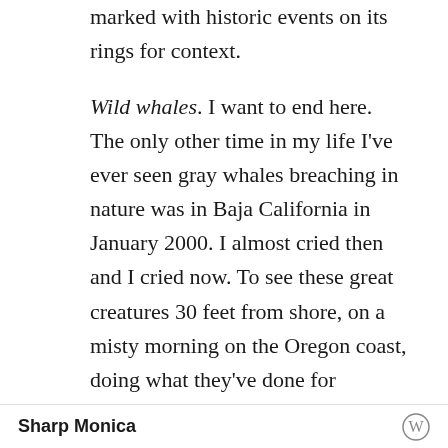marked with historic events on its rings for context.
Wild whales. I want to end here. The only other time in my life I've ever seen gray whales breaching in nature was in Baja California in January 2000. I almost cried then and I cried now. To see these great creatures 30 feet from shore, on a misty morning on the Oregon coast, doing what they've done for millennia, gawking tourists and cameras be damned.. Really puts it all in context, much like the
Sharp Monica